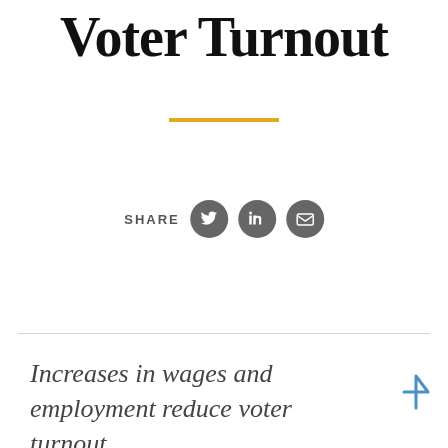Voter Turnout
[Figure (other): Decorative gold horizontal divider line]
[Figure (infographic): SHARE row with Twitter, LinkedIn, and Email social media icon buttons]
Increases in wages and employment reduce voter turnout...